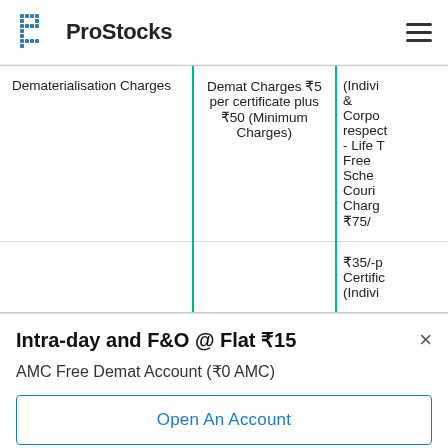ProStocks
|  |  |  |
| --- | --- | --- |
| Dematerialisation Charges | Demat Charges ₹5 per certificate plus ₹50 (Minimum Charges) | (Indiv & Corpo respect - Life T Free Sche Cour Char ₹75/ |
|  |  | ₹35/- Certific (Indivi |
Intra-day and F&O @ Flat ₹15
AMC Free Demat Account (₹0 AMC)
Open An Account